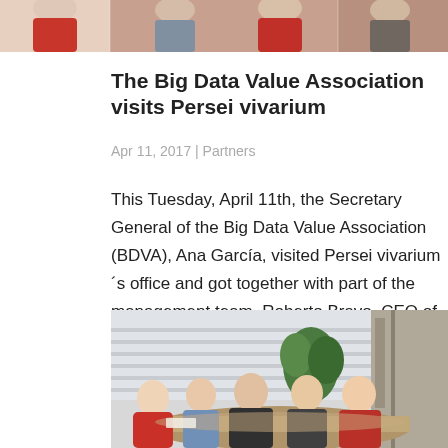[Figure (photo): Cropped top of a group photo showing people, partially visible]
The Big Data Value Association visits Persei vivarium
Apr 11, 2017 | Partners
This Tuesday, April 11th, the Secretary General of the Big Data Value Association (BDVA), Ana García, visited Persei vivarium´s office and got together with part of the management team, Roberto Bravo, CEO of the Company, Elli Ghozzati, Vicepresident of Neuroscience,...
[Figure (photo): Five people sitting around a conference table in an office meeting room with a plant in the background]